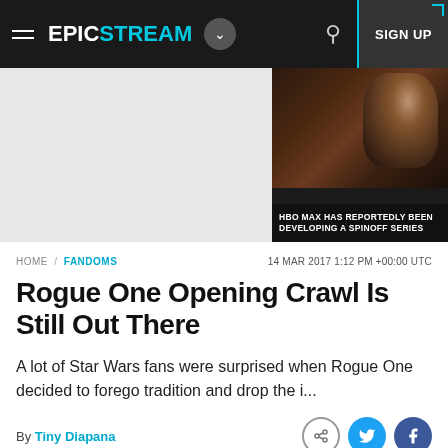EPICSTREAM
[Figure (photo): Dark promotional banner image with text: HBO MAX HAS REPORTEDLY BEEN DEVELOPING A SPINOFF SERIES]
HOME / FANDOMS   14 MAR 2017 1:12 PM +00:00 UTC
Rogue One Opening Crawl Is Still Out There
A lot of Star Wars fans were surprised when Rogue One decided to forego tradition and drop the i...
By Tiny Diapana